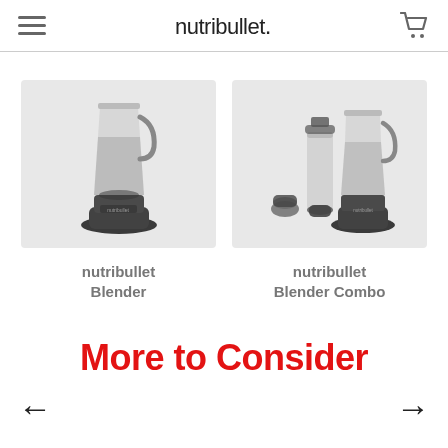nutribullet.
[Figure (photo): nutribullet Blender product photo on light gray background]
nutribullet Blender
[Figure (photo): nutribullet Blender Combo product photo showing blender jar with personal blending cups and caps on light gray background]
nutribullet Blender Combo
More to Consider